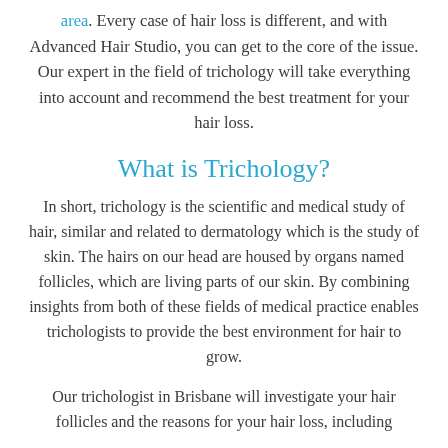area. Every case of hair loss is different, and with Advanced Hair Studio, you can get to the core of the issue. Our expert in the field of trichology will take everything into account and recommend the best treatment for your hair loss.
What is Trichology?
In short, trichology is the scientific and medical study of hair, similar and related to dermatology which is the study of skin. The hairs on our head are housed by organs named follicles, which are living parts of our skin. By combining insights from both of these fields of medical practice enables trichologists to provide the best environment for hair to grow.
Our trichologist in Brisbane will investigate your hair follicles and the reasons for your hair loss, including